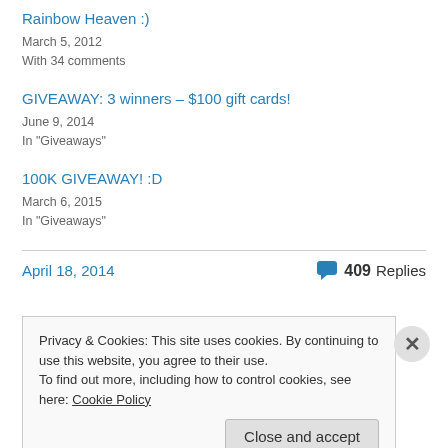Rainbow Heaven :)
March 5, 2012
With 34 comments
GIVEAWAY: 3 winners – $100 gift cards!
June 9, 2014
In "Giveaways"
100K GIVEAWAY! :D
March 6, 2015
In "Giveaways"
April 18, 2014
409 Replies
Privacy & Cookies: This site uses cookies. By continuing to use this website, you agree to their use.
To find out more, including how to control cookies, see here: Cookie Policy
Close and accept